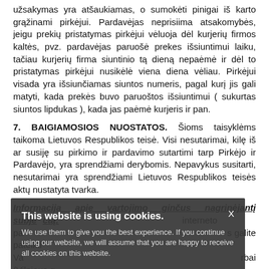užsakymas yra atšaukiamas, o sumokėti pinigai iš karto grąžinami pirkėjui. Pardavėjas neprisiima atsakomybės, jeigu prekių pristatymas pirkėjui vėluoja dėl kurjerių firmos kaltės, pvz. pardavėjas paruošė prekes išsiuntimui laiku, tačiau kurjerių firma siuntinio tą dieną nepaėmė ir dėl to pristatymas pirkėjui nusikėlė viena diena vėliau. Pirkėjui visada yra išsiunčiamas siuntos numeris, pagal kurį jis gali matyti, kada prekės buvo paruoštos išsiuntimui ( sukurtas siuntos lipdukas ), kada jas paėmė kurjeris ir pan.
7. BAIGIAMOSIOS NUOSTATOS. Šioms taisyklėms taikoma Lietuvos Respublikos teisė. Visi nesutarimai, kilę iš ar susiję su pirkimo ir pardavimo sutartimi tarp Pirkėjo ir Pardavėjo, yra sprendžiami derybomis. Nepavykus susitarti, nesutarimai yra sprendžiami Lietuvos Respublikos teisės aktų nustatyta tvarka.
Informacija apie vartojimo ginčus nagrinėjantį subjektą: ... interneto pa... s galite pateikti Va... bai (Vilniaus g. 25, 01402 Vilnius, tarnyba@vvtat.lt, tel. 8 5 262 67 51, faks. (8-5) 279 1466, interneto svetainėje www.vvtat.lt (taip pat Valstybinės vartotojų teisių apsaugos tarnybos teritoriniams padaliniams apskrityse) – ar užpildyti
This website is using cookies. We use them to give you the best experience. If you continue using our website, we will assume that you are happy to receive all cookies on this website.